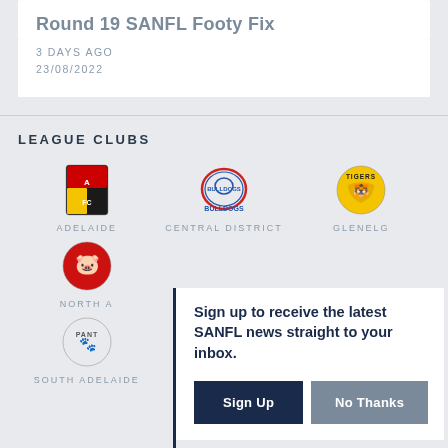Round 19 SANFL Footy Fix
3 DAYS AGO
23/08/2022
LEAGUE CLUBS
[Figure (logo): Adelaide SANFL club logo]
ADELAIDE
[Figure (logo): Central District Bulldogs SANFL club logo]
CENTRAL DISTRICT
[Figure (logo): Glenelg Tigers SANFL club logo]
GLENELG
[Figure (logo): North Adelaide SANFL club logo (partial)]
NORTH A...
Sign up to receive the latest SANFL news straight to your inbox.
Sign Up
No Thanks
[Figure (logo): South Adelaide Panthers SANFL club logo]
SOUTH ADELAIDE
[Figure (logo): Sturt SANFL club logo]
STURT
[Figure (logo): West Adelaide Bloods SANFL club logo]
WEST ADELAIDE